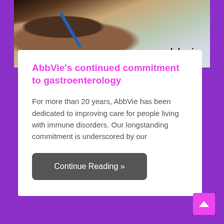[Figure (photo): A person writing with a blue pen, wearing lab coat with molecular patterns. AbbVie logo visible in lower right of photo.]
AbbVie's continued commitment to gastroenterology
For more than 20 years, AbbVie has been dedicated to improving care for people living with immune disorders. Our longstanding commitment is underscored by our
Continue Reading »